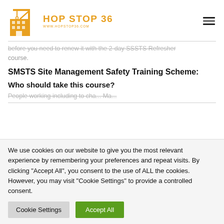[Figure (logo): Hop Stop 36 logo with orange construction crane icon and text]
before you need to renew it with the 2-day SSSTS Refresher course.
SMSTS Site Management Safety Training Scheme:
Who should take this course?
People working including to cha... Ma...
We use cookies on our website to give you the most relevant experience by remembering your preferences and repeat visits. By clicking "Accept All", you consent to the use of ALL the cookies. However, you may visit "Cookie Settings" to provide a controlled consent.